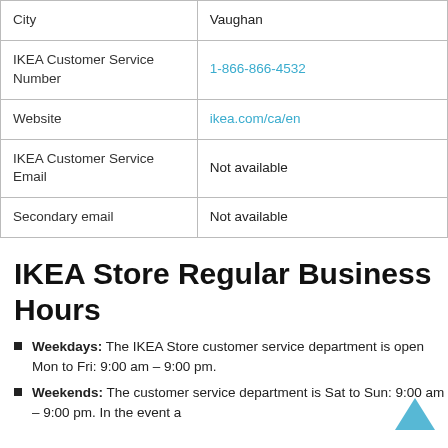|  |  |
| --- | --- |
| City | Vaughan |
| IKEA Customer Service Number | 1-866-866-4532 |
| Website | ikea.com/ca/en |
| IKEA Customer Service Email | Not available |
| Secondary email | Not available |
IKEA Store Regular Business Hours
Weekdays: The IKEA Store customer service department is open Mon to Fri: 9:00 am – 9:00 pm.
Weekends: The customer service department is Sat to Sun: 9:00 am – 9:00 pm. In the event a